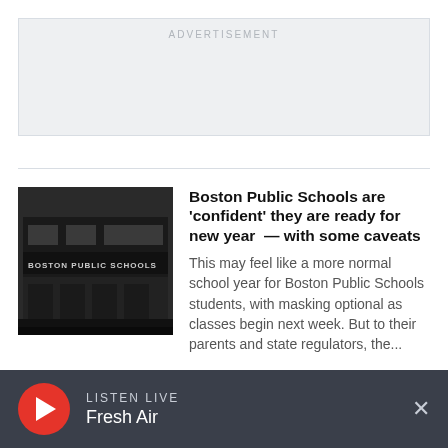[Figure (other): Advertisement placeholder box with light gray background and 'ADVERTISEMENT' label]
[Figure (photo): Photo of a building with 'BOSTON PUBLIC SCHOOLS' signage, dark exterior]
Boston Public Schools are 'confident' they are ready for new year — with some caveats
This may feel like a more normal school year for Boston Public Schools students, with masking optional as classes begin next week. But to their parents and state regulators, the...
LISTEN LIVE Fresh Air